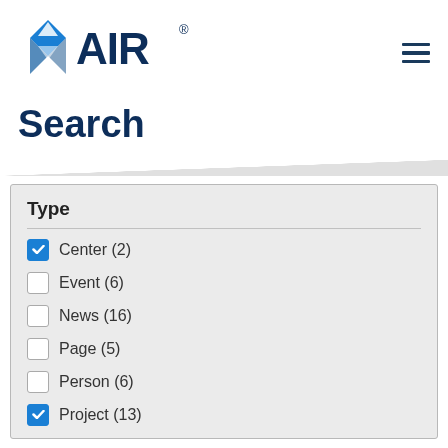[Figure (logo): AIR (American Institutes for Research) logo with blue diamond/arrow shape and AIR text in dark blue]
Search
Type
Center (2) — checked
Event (6) — unchecked
News (16) — unchecked
Page (5) — unchecked
Person (6) — unchecked
Project (13) — checked